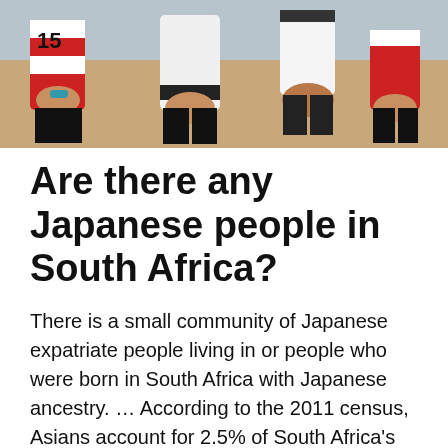[Figure (photo): Rugby players in red and white striped jerseys in close contact during a match, showing arms and legs of multiple players]
Are there any Japanese people in South Africa?
There is a small community of Japanese expatriate people living in or people who were born in South Africa with Japanese ancestry. ... According to the 2011 census, Asians account for 2.5% of South Africa's total population.
How Big Is Japan really?
Spain is about 1.3 times bigger than Japan.
Japan is approximately 377,915 sq km, while